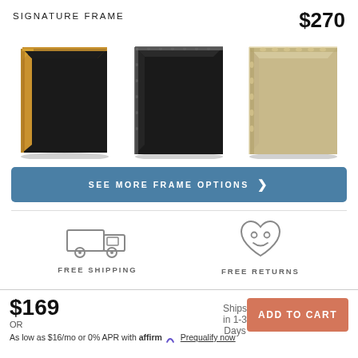SIGNATURE FRAME
$270
[Figure (photo): Three picture frame corner samples: black with gold edge, ornate black, and ornate silver/champagne]
SEE MORE FRAME OPTIONS ❯
[Figure (illustration): Delivery truck icon representing free shipping]
FREE SHIPPING
[Figure (illustration): Heart with smiley face icon representing free returns]
FREE RETURNS
$169
OR
Ships in 1-3 Days
ADD TO CART
As low as $16/mo or 0% APR with affirm Prequalify now